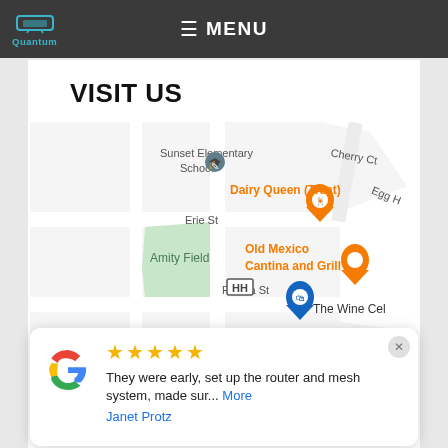Quantum — MENU
VISIT US
[Figure (map): Google Maps screenshot showing area with Sunset Elementary School, Amity Field, Erie St, Florida St, Georgia St, Cherry Ct, Egg H (partial), Dairy Queen (Treat), Old Mexico Cantina and Grill, The Wine Cel (partial), HH marker, and blue pin.]
★★★★★ They were early, set up the router and mesh system, made sur... More
Janet Protz